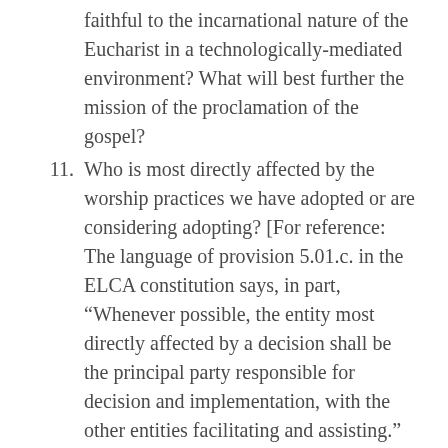faithful to the incarnational nature of the Eucharist in a technologically-mediated environment? What will best further the mission of the proclamation of the gospel?
11. Who is most directly affected by the worship practices we have adopted or are considering adopting? [For reference: The language of provision 5.01.c. in the ELCA constitution says, in part, “Whenever possible, the entity most directly affected by a decision shall be the principal party responsible for decision and implementation, with the other entities facilitating and assisting.” The entities here are congregations, synods, and the churchwide